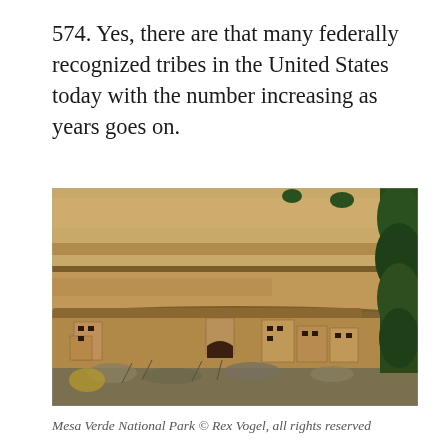574. Yes, there are that many federally recognized tribes in the United States today with the number increasing as years goes on.
[Figure (photo): Photograph of cliff dwellings built into a sandstone cliff face at Mesa Verde National Park, showing ancient pueblo-style stone structures nestled under a large rock overhang, with desert scrub vegetation in the foreground and evergreen trees on the right.]
Mesa Verde National Park © Rex Vogel, all rights reserved